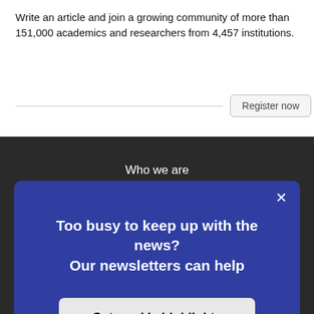Write an article and join a growing community of more than 151,000 academics and researchers from 4,457 institutions.
Register now
Who we are
Our charter
Too busy to keep up with the news? Our newsletters can help
Get weekly highlights